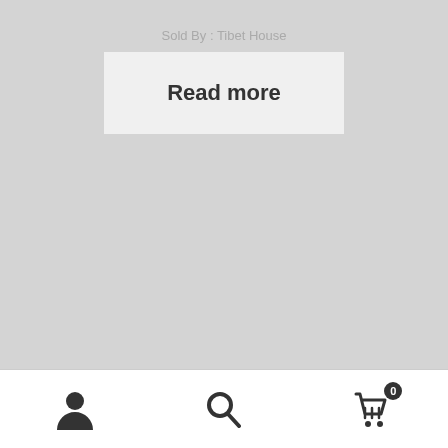Sold By : Tibet House
Read more
[Figure (screenshot): Bottom navigation bar with user/account icon, search icon, and shopping cart icon with badge showing 0]